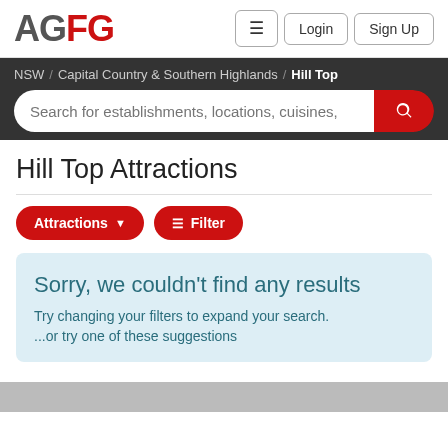AGFG | Login | Sign Up
NSW / Capital Country & Southern Highlands / Hill Top
Hill Top Attractions
Attractions ▼   ≡ Filter
Sorry, we couldn't find any results
Try changing your filters to expand your search.
...or try one of these suggestions